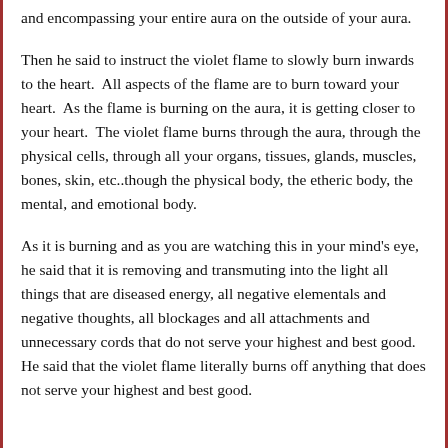and encompassing your entire aura on the outside of your aura.
Then he said to instruct the violet flame to slowly burn inwards to the heart.  All aspects of the flame are to burn toward your heart.  As the flame is burning on the aura, it is getting closer to your heart.  The violet flame burns through the aura, through the physical cells, through all your organs, tissues, glands, muscles, bones, skin, etc..though the physical body, the etheric body, the mental, and emotional body.
As it is burning and as you are watching this in your mind's eye, he said that it is removing and transmuting into the light all things that are diseased energy, all negative elementals and negative thoughts, all blockages and all attachments and unnecessary cords that do not serve your highest and best good.  He said that the violet flame literally burns off anything that does not serve your highest and best good.